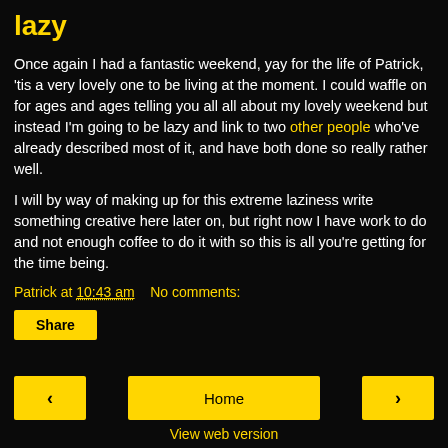lazy
Once again I had a fantastic weekend, yay for the life of Patrick, 'tis a very lovely one to be living at the moment. I could waffle on for ages and ages telling you all all about my lovely weekend but instead I'm going to be lazy and link to two other people who've already described most of it, and have both done so really rather well.
I will by way of making up for this extreme laziness write something creative here later on, but right now I have work to do and not enough coffee to do it with so this is all you're getting for the time being.
Patrick at 10:43 am    No comments:
Share
‹    Home    ›
View web version